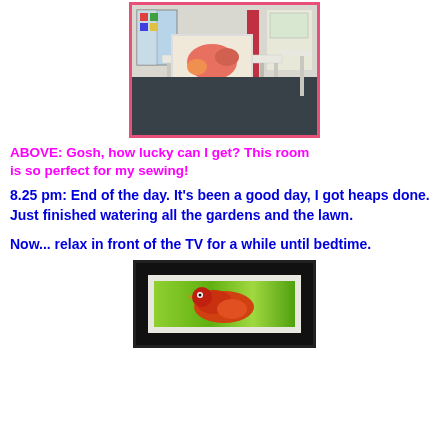[Figure (photo): Interior room photo showing a large table with a framed artwork/puzzle on it, a stool, shelves and windows in background — a sewing/craft room]
ABOVE:  Gosh, how lucky can I get?  This room is so perfect for my sewing!
8.25 pm:  End of the day.  It's been a good day, I got heaps done.  Just finished watering all the gardens and the lawn.
Now... relax in front of the TV for a while until bedtime.
[Figure (photo): Partial view of a TV screen showing a colorful image with green and red/orange tones — appears to be wildlife or nature content]